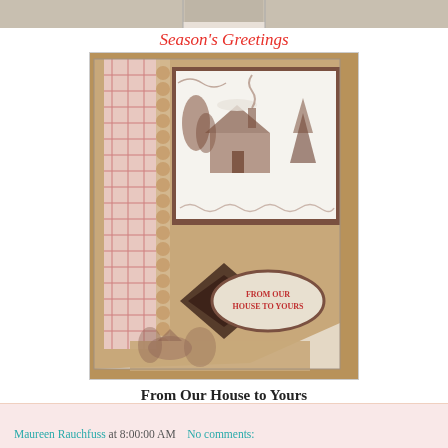[Figure (photo): Partial top of a craft/stamp card image, cropped at top of page]
Season's Greetings
[Figure (photo): Handmade Christmas greeting card featuring kraft paper background with red gingham ribbon/strip on left side, stamped winter cottage scene in upper portion, decorative scalloped border trim, dark diamond/argyle embellishment at lower center with oval label reading 'FROM OUR HOUSE TO YOURS', and another stamped cottage scene at the bottom]
From Our House to Yours
Maureen Rauchfuss at 8:00:00 AM    No comments: